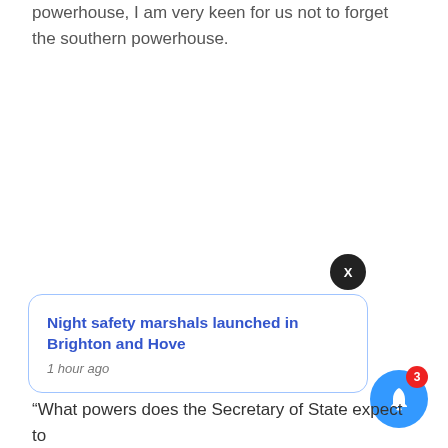powerhouse, I am very keen for us not to forget the southern powerhouse.
Night safety marshals launched in Brighton and Hove
1 hour ago
“What powers does the Secretary of State expect to